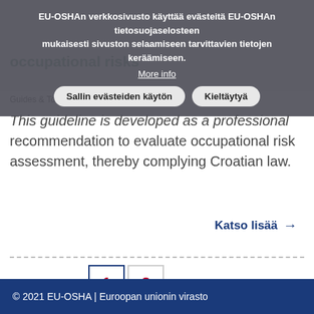EU-OSHAn verkkosivusto käyttää evästeitä EU-OSHAn tietosuojaselosteen mukaisesti sivuston selaamiseen tarvittavien tietojen keräämiseen.
More info
Sallin evästeiden käytön | Kieltäytyä
occupational risks
Guides & Tools   Kroatia   Croatian   -
This guideline is developed as a professional recommendation to evaluate occupational risk assessment, thereby complying Croatian law.
Katso lisää →
1 2 > >>
© 2021 EU-OSHA | Euroopan unionin virasto